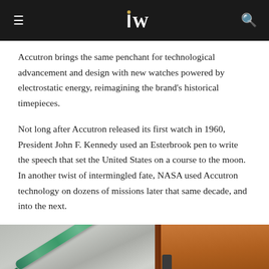iW [logo header]
Accutron brings the same penchant for technological advancement and design with new watches powered by electrostatic energy, reimagining the brand's historical timepieces.
Not long after Accutron released its first watch in 1960, President John F. Kennedy used an Esterbrook pen to write the speech that set the United States on a course to the moon. In another twist of intermingled fate, NASA used Accutron technology on dozens of missions later that same decade, and into the next.
[Figure (photo): Close-up photo of a teal/green pen resting on crumpled fabric or paper alongside a brown leather-bound book or notebook with a clasp.]